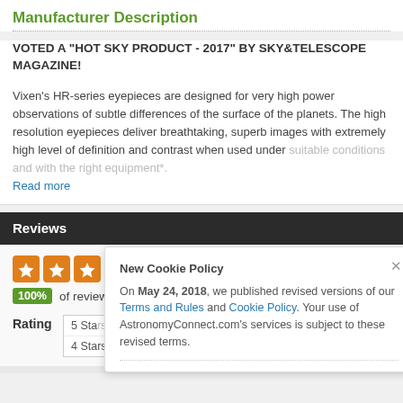Manufacturer Description
VOTED A "HOT SKY PRODUCT - 2017" BY SKY&TELESCOPE MAGAZINE!
Vixen's HR-series eyepieces are designed for very high power observations of subtle differences of the surface of the planets. The high resolution eyepieces deliver breathtaking, superb images with extremely high level of definition and contrast when used under suitable conditions and with the right equipment*.
Read more
Reviews
(Based on 1 Reviews)
100% of reviewers recommended this product.
Rating
5 Stars
4 Stars
New Cookie Policy
On May 24, 2018, we published revised versions of our Terms and Rules and Cookie Policy. Your use of AstronomyConnect.com's services is subject to these revised terms.